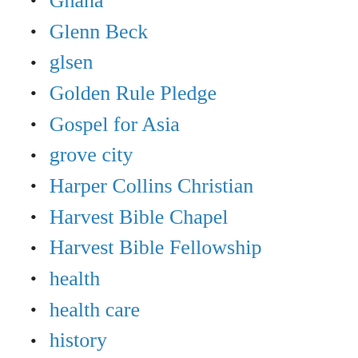Ghana
Glenn Beck
glsen
Golden Rule Pledge
Gospel for Asia
grove city
Harper Collins Christian
Harvest Bible Chapel
Harvest Bible Fellowship
health
health care
history
Holidays
holocaust
human rights
I Do Exist